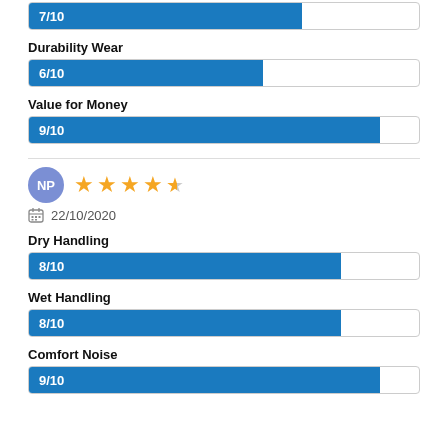[Figure (bar-chart): Comfort Noise]
Durability Wear
[Figure (bar-chart): Durability Wear]
Value for Money
[Figure (bar-chart): Value for Money]
[Figure (infographic): Reviewer avatar NP with 4.5 star rating and date 22/10/2020]
22/10/2020
Dry Handling
[Figure (bar-chart): Dry Handling]
Wet Handling
[Figure (bar-chart): Wet Handling]
Comfort Noise
[Figure (bar-chart): Comfort Noise]